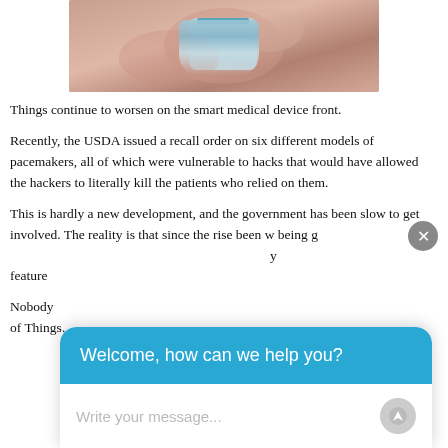[Figure (photo): A hand holding a medical syringe or medical device, close-up shot.]
Things continue to worsen on the smart medical device front.
Recently, the USDA issued a recall order on six different models of pacemakers, all of which were vulnerable to hacks that would have allowed the hackers to literally kill the patients who relied on them.
This is hardly a new development, and the government has been slow to get involved. The reality is that since the rise been w being g feature
Nobody of Things.
[Figure (screenshot): A chat widget overlay showing 'Welcome, how can we help you?' header in blue and a text input field saying 'Write your message...' with a send button.]